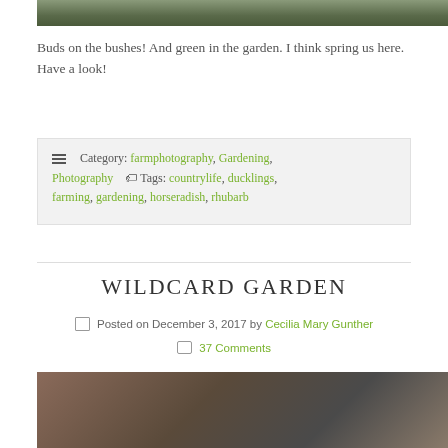[Figure (photo): Top portion of a garden/plant photo showing green leaves and foliage]
Buds on the bushes! And green in the garden. I think spring us here. Have a look!
Category: farmphotography, Gardening, Photography  Tags: countrylife, ducklings, farming, gardening, horseradish, rhubarb
WILDCARD GARDEN
Posted on December 3, 2017 by Cecilia Mary Gunther
37 Comments
[Figure (photo): Bottom photo showing gardening items including seed packets and a bowl of seeds or small items]